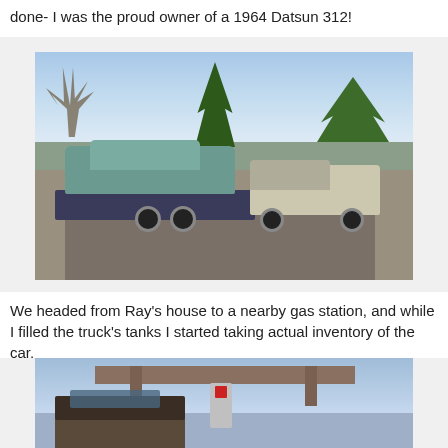done- I was the proud owner of a 1964 Datsun 312!
[Figure (photo): A light blue/teal 1964 Datsun 312 loaded on a flatbed trailer being towed by a white pickup truck on a rural road with bare trees and an evergreen in the background.]
We headed from Ray's house to a nearby gas station, and while I filled the truck's tanks I started taking actual inventory of the car.
[Figure (photo): A vintage car (dark colored, seen from rear) at a gas station with pump canopy visible, blue sky with clouds in the background.]